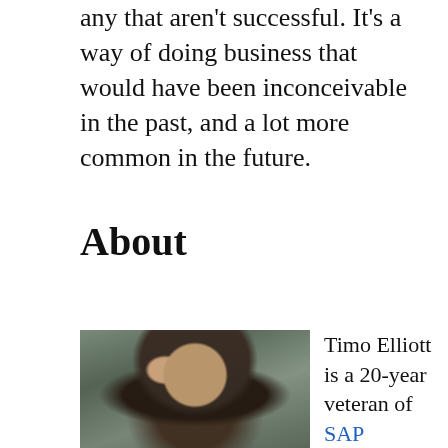any that aren't successful. It's a way of doing business that would have been inconceivable in the past, and a lot more common in the future.
About
[Figure (photo): Portrait photo of Timo Elliott, a man with dark hair, viewed from approximately chest up, with a blurred outdoor background.]
Timo Elliott is a 20-year veteran of SAP